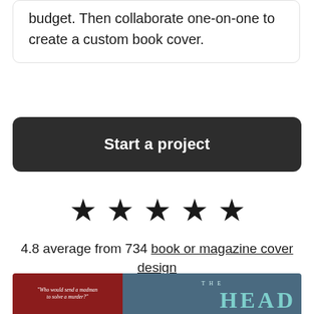budget. Then collaborate one-on-one to create a custom book cover.
Start a project
[Figure (other): Five black star icons in a row representing a rating display]
4.8 average from 734 book or magazine cover design customer reviews
[Figure (photo): Book cover strip showing a dark atmospheric cover with red section containing a quote 'Who would send a madman to solve a murder?' and blue-grey section with the word HEAD in teal letters]